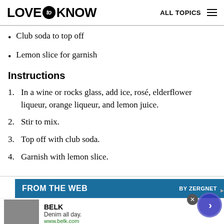LOVE to KNOW  ALL TOPICS
Club soda to top off
Lemon slice for garnish
Instructions
1. In a wine or rocks glass, add ice, rosé, elderflower liqueur, orange liqueur, and lemon juice.
2. Stir to mix.
3. Top off with club soda.
4. Garnish with lemon slice.
FROM THE WEB  BY ZERGNET
BELK Denim all day. www.belk.com